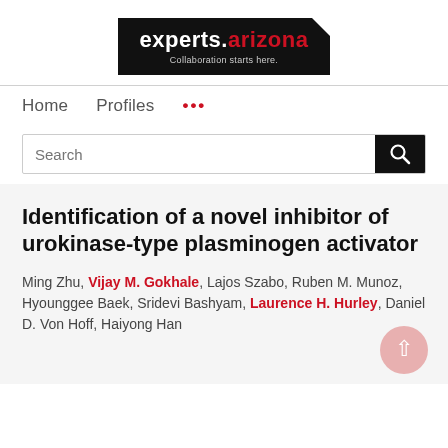[Figure (logo): experts.arizona logo — black background with white 'experts.' text and red '.arizona' text, tagline 'Collaboration starts here.' in grey]
Home   Profiles   ...
Search
Identification of a novel inhibitor of urokinase-type plasminogen activator
Ming Zhu, Vijay M. Gokhale, Lajos Szabo, Ruben M. Munoz, Hyounggee Baek, Sridevi Bashyam, Laurence H. Hurley, Daniel D. Von Hoff, Haiyong Han